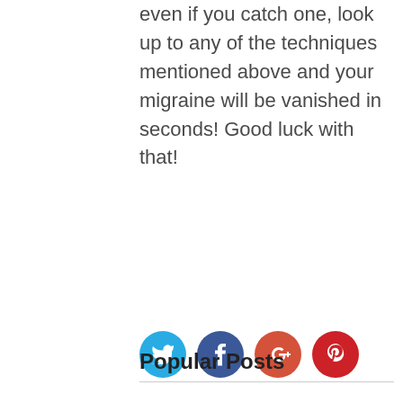even if you catch one, look up to any of the techniques mentioned above and your migraine will be vanished in seconds! Good luck with that!
[Figure (other): Four social media share buttons in circles: Twitter (blue), Facebook (dark blue), Google+ (orange-red), Pinterest (red)]
Popular Posts